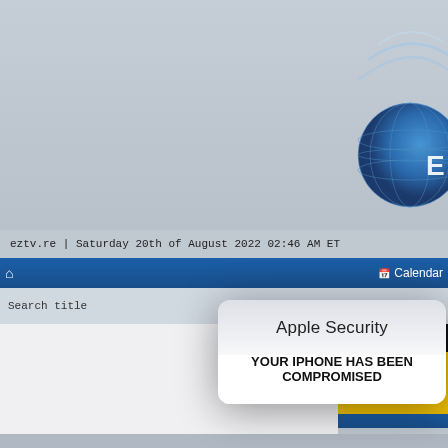[Figure (screenshot): Screenshot of eztv.re website with globe/logo graphic in upper right, gray background header]
eztv.re | Saturday 20th of August 2022 02:46 AM ET
Home | Calendar
Search title
[Figure (screenshot): Modal popup dialog with title 'Apple Security' and message 'YOUR IPHONE HAS BEEN COMPROMISED']
Apple Security
YOUR IPHONE HAS BEEN COMPROMISED
X
se a
ur lo
agains
hiding
VPN no
gest st
how the
nce to